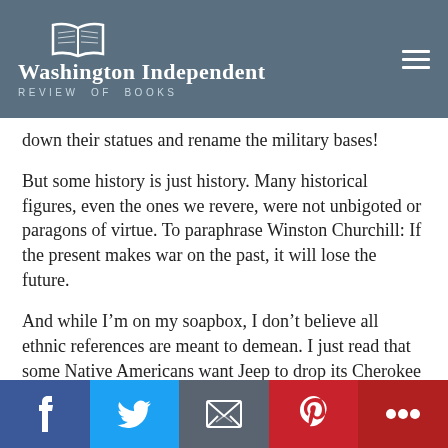Washington Independent Review of Books
down their statues and rename the military bases!
But some history is just history. Many historical figures, even the ones we revere, were not unbigoted or paragons of virtue. To paraphrase Winston Churchill: If the present makes war on the past, it will lose the future.
And while I'm on my soapbox, I don't believe all ethnic references are meant to demean. I just read that some Native Americans want Jeep to drop its Cherokee brand name. Next thing you know, the descendants of Lewis and Clark will sue Ford over its Explorer line.
I was at a party once where someone used the “N” word when referring to Tiger Woods. Everyone blanched. They would never speak that word! But most of those same people voted for a racist for president.
[Figure (other): Social sharing bar with Facebook, Twitter, Email, Pinterest, and More buttons]